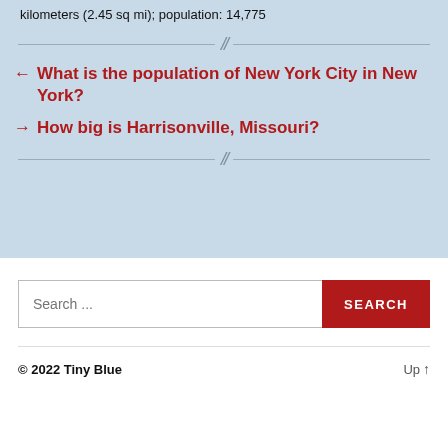kilometers (2.45 sq mi); population: 14,775
← What is the population of New York City in New York?
→ How big is Harrisonville, Missouri?
Search ...
© 2022 Tiny Blue